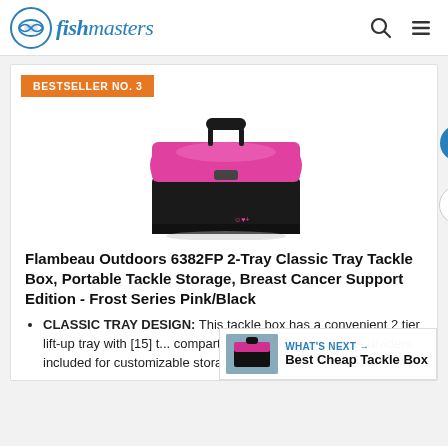fishmasters
BESTSELLER NO. 3
[Figure (photo): Pink and black Flambeau Outdoors 6382FP 2-Tray Classic Tray Tackle Box with handle, Frost Series Pink/Black, Breast Cancer Support Edition]
Flambeau Outdoors 6382FP 2-Tray Classic Tray Tackle Box, Portable Tackle Storage, Breast Cancer Support Edition - Frost Series Pink/Black
CLASSIC TRAY DESIGN: This tackle box has a convenient 2 tier lift-up tray with [15] t... compartments and [6] removable dividers included for customizable storage capabilities.
[Figure (photo): Small thumbnail image for 'What's Next: Best Cheap Tackle Box']